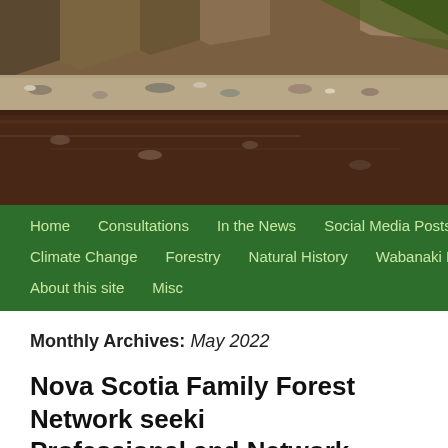[Figure (photo): Photograph of a rocky coastal or riverside landscape with red-brown earth, stones and cliffs in warm tones]
Home  Consultations  In the News  Social Media Posts  Indep
Climate Change  Forestry  Natural History  Wabanaki Forest
About this site  Misc
Monthly Archives: May 2022
Nova Scotia Family Forest Network seeki Professional and Network Manager 15Ma